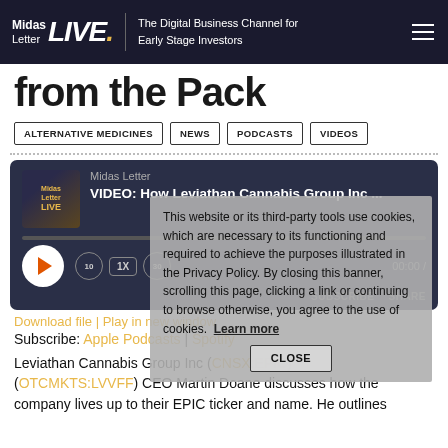Midas Letter LIVE. | The Digital Business Channel for Early Stage Investors
from the Pack
ALTERNATIVE MEDICINES
NEWS
PODCASTS
VIDEOS
[Figure (other): Podcast player card showing Midas Letter podcast titled 'VIDEO: How Leviathan Cannabis Group Inc ...' with play button, progress bar, rewind/speed/forward controls, and SUBSCRIBE/SHARE buttons]
Download file | Play in new window
Subscribe: Apple Podcasts | Spotify
Leviathan Cannabis Group Inc (CNSX:EPIC) (OTCMKTS:LVVFF) CEO Martin Doane discusses how the company lives up to their EPIC ticker and name. He outlines